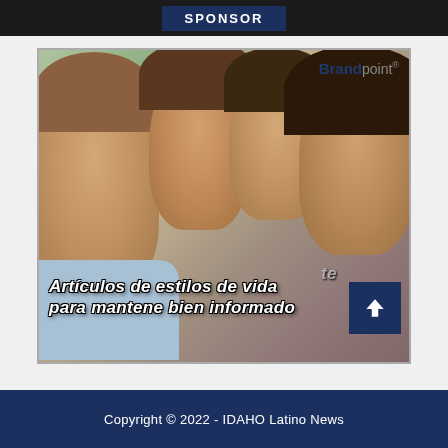SPONSOR
[Figure (photo): Advertisement image showing a smiling Hispanic family (father, two children, mother) with Brandpoint logo in upper right and italic white text overlay reading 'Artículos de estilos de vida para mantenerte bien informado' over the photo, with a navy blue up-arrow button in the lower right corner.]
Copyright © 2022 - IDAHO Latino News